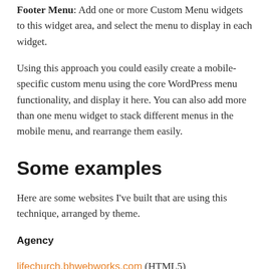Footer Menu: Add one or more Custom Menu widgets to this widget area, and select the menu to display in each widget.
Using this approach you could easily create a mobile-specific custom menu using the core WordPress menu functionality, and display it here. You can also add more than one menu widget to stack different menus in the mobile menu, and rearrange them easily.
Some examples
Here are some websites I've built that are using this technique, arranged by theme.
Agency
lifechurch.bhwebworks.com (HTML5)
Education (re-worked just a bit 🙂 )